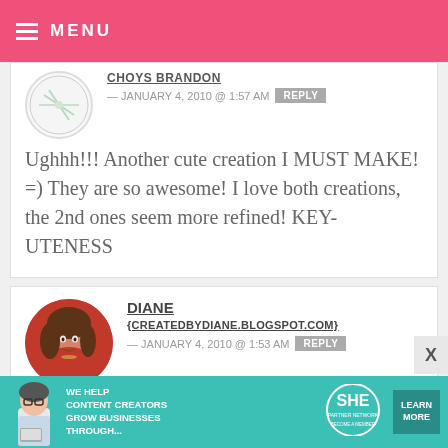MENU
CHOYS BRANDON — JANUARY 4, 2010 @ 1:57 AM  REPLY
Ughhh!!! Another cute creation I MUST MAKE! =) They are so awesome! I love both creations, the 2nd ones seem more refined! KEY-UTENESS
DIANE
{CREATEDBYDIANE.BLOGSPOT.COM}
— JANUARY 4, 2010 @ 1:53 AM  REPLY
Very C_U_T_E!
[Figure (infographic): Ad banner: SHE Partner Network — We help content creators grow businesses through... Learn More / Become a Member]